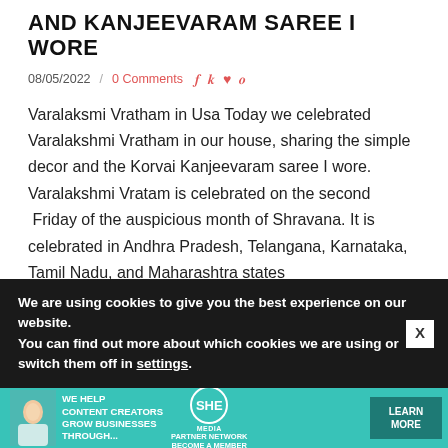AND KANJEEVARAM SAREE I WORE
08/05/2022 / 0 Comments
Varalaksmi Vratham in Usa Today we celebrated Varalakshmi Vratham in our house, sharing the simple decor and the Korvai Kanjeevaram saree I wore. Varalakshmi Vratam is celebrated on the second Friday of the auspicious month of Shravana. It is celebrated in Andhra Pradesh, Telangana, Karnataka, Tamil Nadu, and Maharashtra states
CONTINUE READING
We are using cookies to give you the best experience on our website.
You can find out more about which cookies we are using or switch them off in settings.
[Figure (infographic): Advertisement banner: SHE Media Partner Network - We help content creators grow businesses through... Learn More]